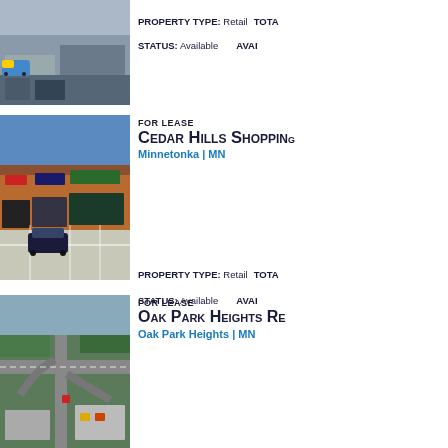[Figure (photo): Street-level photo of a retail building with a light rail train visible, urban setting]
PROPERTY TYPE: Retail TOTAL... STATUS: Available AVAI...
FOR LEASE
Cedar Hills Shopping...
Minnetonka | MN
[Figure (photo): Exterior photo of Cedar Hills Shopping Center strip mall with parking lot, Minnetonka MN]
PROPERTY TYPE: Retail TOTAL... STATUS: Available AVAI...
FOR LEASE
Oak Park Heights Re...
Oak Park Heights | MN
[Figure (photo): Aerial view of Oak Park Heights Retail property with highway interchange, Oak Park Heights MN]